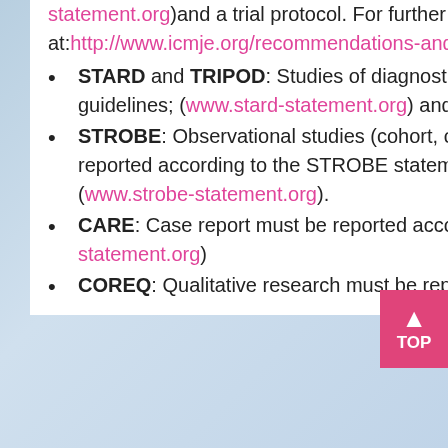statement.org)and a trial protocol. For further details, please visit complete guidelines at:http://www.icmje.org/recommendations-and-editorial-issues/clinical-trial-registration.html
STARD and TRIPOD: Studies of diagnostic accuracy must be reported according to STARD guidelines; (www.stard-statement.org) and TRIPOD guidelines; (www.tripod-statement.org)
STROBE: Observational studies (cohort, case-control, or cross-sectional designs) must be reported according to the STROBE statement, and should be submitted with their protocols; (www.strobe-statement.org).
CARE: Case report must be reported according to CARE guidelines; (www.care-statement.org)
COREQ: Qualitative research must be reported according to COREQ guidelines;